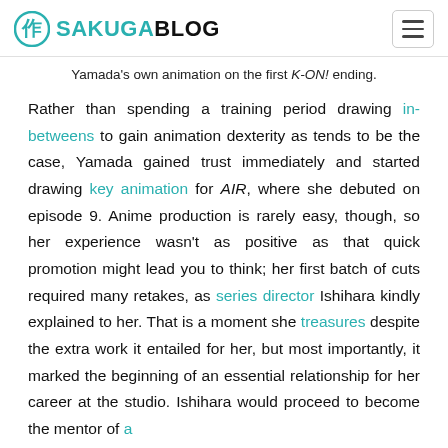SAKUGABLOG
Yamada's own animation on the first K-ON! ending.
Rather than spending a training period drawing in-betweens to gain animation dexterity as tends to be the case, Yamada gained trust immediately and started drawing key animation for AIR, where she debuted on episode 9. Anime production is rarely easy, though, so her experience wasn't as positive as that quick promotion might lead you to think; her first batch of cuts required many retakes, as series director Ishihara kindly explained to her. That is a moment she treasures despite the extra work it entailed for her, but most importantly, it marked the beginning of an essential relationship for her career at the studio. Ishihara would proceed to become the mentor of a